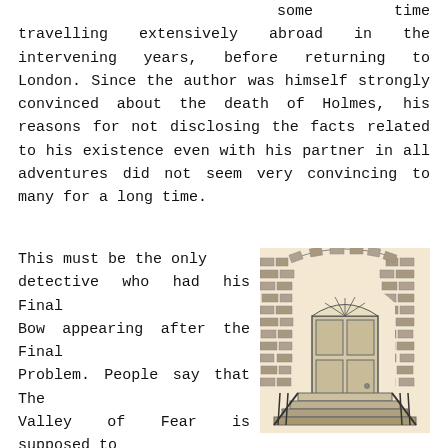some time travelling extensively abroad in the intervening years, before returning to London. Since the author was himself strongly convinced about the death of Holmes, his reasons for not disclosing the facts related to his existence even with his partner in all adventures did not seem very convincing to many for a long time.
This must be the only detective who had his Final Bow appearing after the Final Problem. People say that The Valley of Fear is supposed to be the “swan song in fiction” of Sir Arthur Conan Doyle which was published in between the series of some more stories of
[Figure (illustration): Pen-and-ink illustration of a Georgian-style doorway set into a brick arch. The door has panels and a fanlight above. Steps lead up to the door. Dark brick surround with an arched opening.]